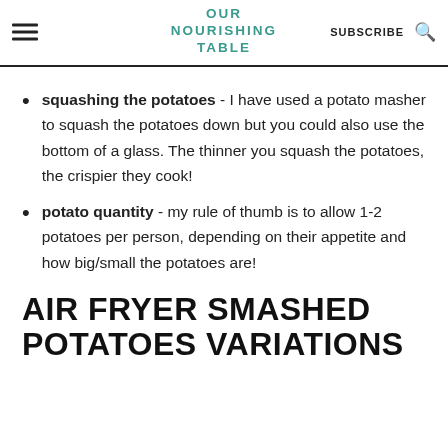OUR NOURISHING TABLE | SUBSCRIBE
squashing the potatoes - I have used a potato masher to squash the potatoes down but you could also use the bottom of a glass. The thinner you squash the potatoes, the crispier they cook!
potato quantity - my rule of thumb is to allow 1-2 potatoes per person, depending on their appetite and how big/small the potatoes are!
AIR FRYER SMASHED POTATOES VARIATIONS